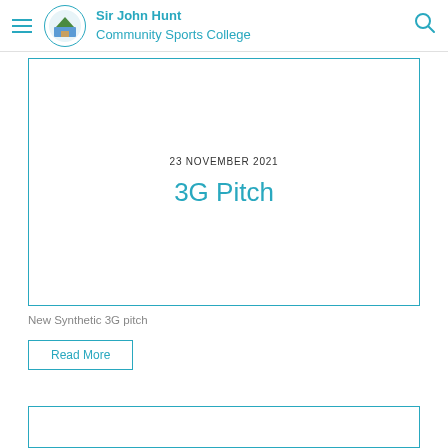Sir John Hunt Community Sports College
23 NOVEMBER 2021
3G Pitch
New Synthetic 3G pitch
Read More
[Figure (other): Partial card/image placeholder at bottom of page, teal border]